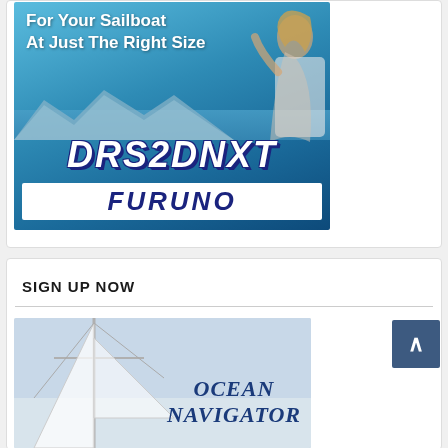[Figure (photo): Furuno DRS2DNXT radar advertisement showing a woman on a sailboat looking at scenic water and mountains, with product name DRS2DNXT and FURUNO branding at the bottom]
SIGN UP NOW
[Figure (photo): Ocean Navigator magazine subscription advertisement showing sailboat mast and rigging against light sky background with OCEAN NAVIGATOR logo text]